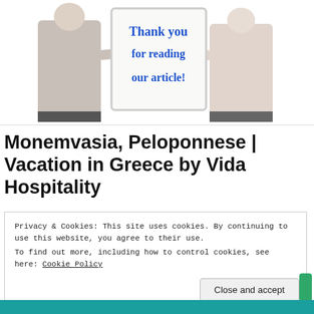[Figure (photo): Two people holding a whiteboard sign that reads 'Thank you for reading our article!' in blue handwritten text]
Monemvasia, Peloponnese | Vacation in Greece by Vida Hospitality
Privacy & Cookies: This site uses cookies. By continuing to use this website, you agree to their use.
To find out more, including how to control cookies, see here: Cookie Policy
Close and accept